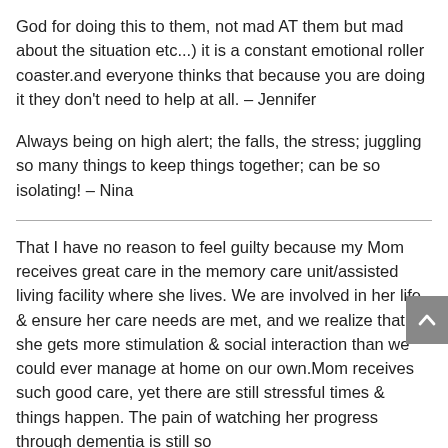God for doing this to them, not mad AT them but mad about the situation etc...) it is a constant emotional roller coaster.and everyone thinks that because you are doing it they don't need to help at all. – Jennifer
Always being on high alert; the falls, the stress; juggling so many things to keep things together; can be so isolating! – Nina
That I have no reason to feel guilty because my Mom receives great care in the memory care unit/assisted living facility where she lives. We are involved in her life & ensure her care needs are met, and we realize that she gets more stimulation & social interaction than we could ever manage at home on our own.Mom receives such good care, yet there are still stressful times & things happen. The pain of watching her progress through dementia is still so